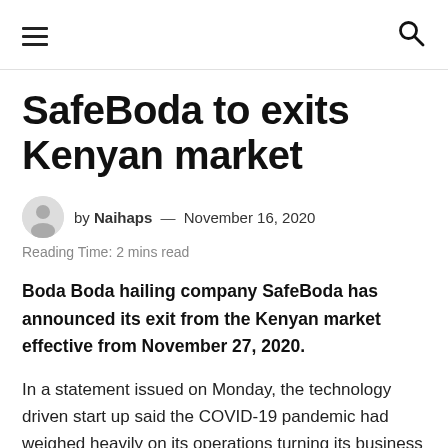≡  🔍
SafeBoda to exits Kenyan market
by Naihaps — November 16, 2020
Reading Time: 2 mins read
Boda Boda hailing company SafeBoda has announced its exit from the Kenyan market effective from November 27, 2020.
In a statement issued on Monday, the technology driven start up said the COVID-19 pandemic had weighed heavily on its operations turning its business sustainability into the future, a going concern.